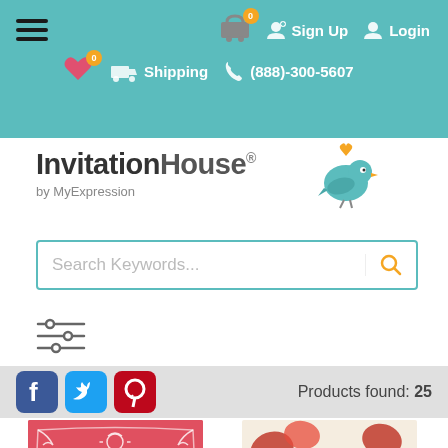InvitationHouse navigation header with hamburger menu, cart (0), Sign Up, Login, heart wishlist (0), Shipping, (888)-300-5607
[Figure (logo): InvitationHouse logo with teal bird and orange heart, subtitle 'by MyExpression']
Search Keywords...
[Figure (other): Filter/sliders icon]
Products found: 25
[Figure (other): Facebook, Twitter, Pinterest social icons and products found count bar]
[Figure (photo): Holiday Cocktails invitation card - red with white floral ornate design]
[Figure (photo): Let's toast the season Holiday Party invitation card - colorful floral pattern]